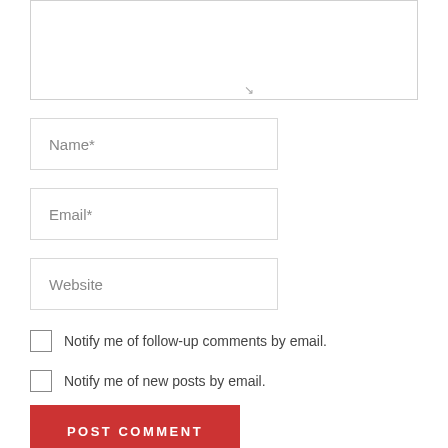[Figure (screenshot): Textarea input box (top portion of comment form), partially visible with resize handle at bottom-right corner]
Name*
Email*
Website
Notify me of follow-up comments by email.
Notify me of new posts by email.
POST COMMENT